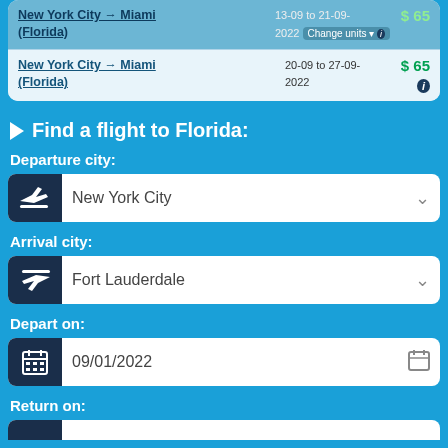| Route | Dates | Price |
| --- | --- | --- |
| New York City → Miami (Florida) | 13-09 to 21-09-2022 [Change units] | $ 65 |
| New York City → Miami (Florida) | 20-09 to 27-09-2022 | $ 65 |
Find a flight to Florida:
Departure city:
New York City
Arrival city:
Fort Lauderdale
Depart on:
09/01/2022
Return on: